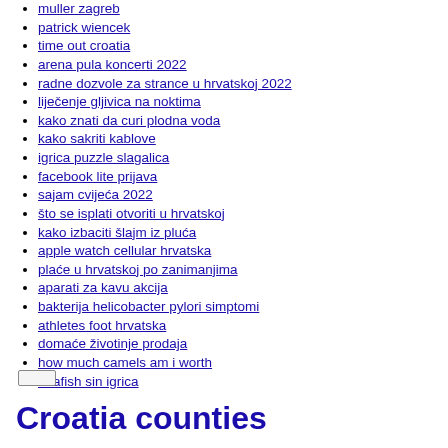muller zagreb
patrick wiencek
time out croatia
arena pula koncerti 2022
radne dozvole za strance u hrvatskoj 2022
liječenje gljivica na noktima
kako znati da curi plodna voda
kako sakriti kablove
igrica puzzle slagalica
facebook lite prijava
sajam cvijeća 2022
što se isplati otvoriti u hrvatskoj
kako izbaciti šlajm iz pluća
apple watch cellular hrvatska
plaće u hrvatskoj po zanimanjima
aparati za kavu akcija
bakterija helicobacter pylori simptomi
athletes foot hrvatska
domaće životinje prodaja
how much camels am i worth
ribafish sin igrica
Croatia counties